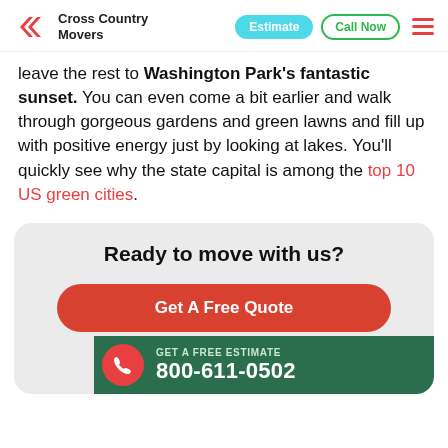Cross Country Movers — Estimate | Call Now
leave the rest to Washington Park's fantastic sunset. You can even come a bit earlier and walk through gorgeous gardens and green lawns and fill up with positive energy just by looking at lakes. You'll quickly see why the state capital is among the top 10 US green cities.
Ready to move with us?
Get A Free Quote
GET A FREE ESTIMATE 800-611-0502